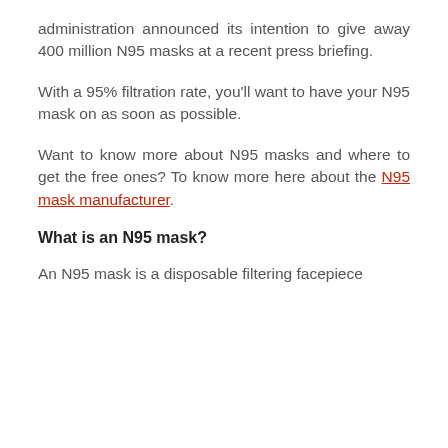administration announced its intention to give away 400 million N95 masks at a recent press briefing.
With a 95% filtration rate, you'll want to have your N95 mask on as soon as possible.
Want to know more about N95 masks and where to get the free ones? To know more here about the N95 mask manufacturer.
What is an N95 mask?
An N95 mask is a disposable filtering facepiece